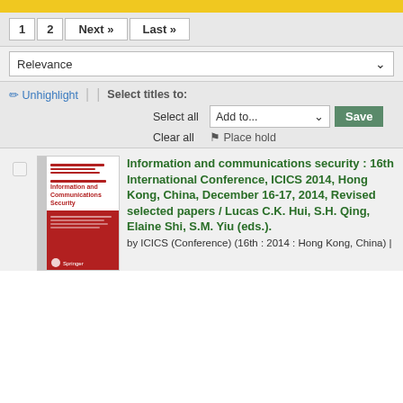Not what you expected? Check for suggestions
1  2  Next »  Last »
Relevance
✎ Unhighlight  |  |  Select titles to:  Select all  Add to...  Save  Clear all  🔖 Place hold
[Figure (photo): Book cover of 'Information and Communications Security' - red and white Springer book cover]
Information and communications security : 16th International Conference, ICICS 2014, Hong Kong, China, December 16-17, 2014, Revised selected papers / Lucas C.K. Hui, S.H. Qing, Elaine Shi, S.M. Yiu (eds.).
by ICICS (Conference) (16th : 2014 : Hong Kong, China) |